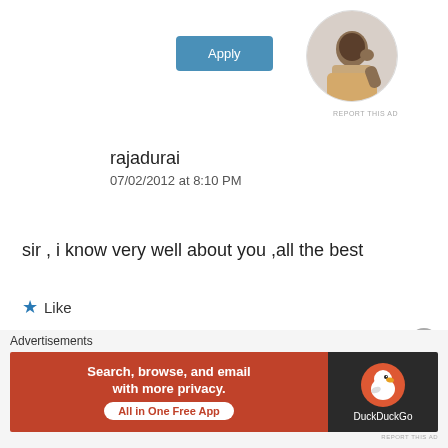[Figure (other): Apply button (blue rounded rectangle)]
[Figure (photo): Circular profile photo of a man sitting at a desk, thinking]
REPORT THIS AD
rajadurai
07/02/2012 at 8:10 PM
sir , i know very well about you ,all the best
★ Like
Reply ↓
[Figure (screenshot): DuckDuckGo advertisement banner: Search, browse, and email with more privacy. All in One Free App. DuckDuckGo logo.]
REPORT THIS AD